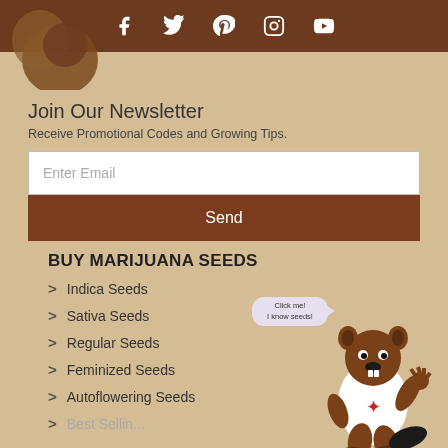Social media icons: Facebook, Twitter, Pinterest, Instagram, YouTube
[Figure (illustration): Partial beaver mascot illustration at top left]
Join Our Newsletter
Receive Promotional Codes and Growing Tips.
Enter Email
Send
BUY MARIJUANA SEEDS
Indica Seeds
Sativa Seeds
Regular Seeds
Feminized Seeds
Autoflowering Seeds
Best Selling Seeds
[Figure (illustration): Cartoon beaver mascot wearing white t-shirt with red maple leaf, with speech bubble saying 'Click me! I know seeds!']